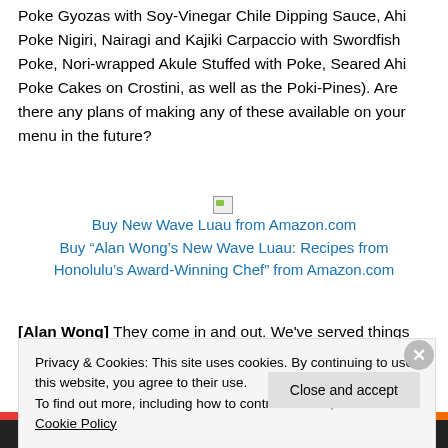Poke Gyozas with Soy-Vinegar Chile Dipping Sauce, Ahi Poke Nigiri, Nairagi and Kajiki Carpaccio with Swordfish Poke, Nori-wrapped Akule Stuffed with Poke, Seared Ahi Poke Cakes on Crostini, as well as the Poki-Pines). Are there any plans of making any of these available on your menu in the future?
[Figure (other): Broken image placeholder followed by link: Buy "Alan Wong's New Wave Luau: Recipes from Honolulu's Award-Winning Chef" from Amazon.com]
[Alan Wong] They come in and out. We've served things
Privacy & Cookies: This site uses cookies. By continuing to use this website, you agree to their use.
To find out more, including how to control cookies, see here: Cookie Policy
Close and accept